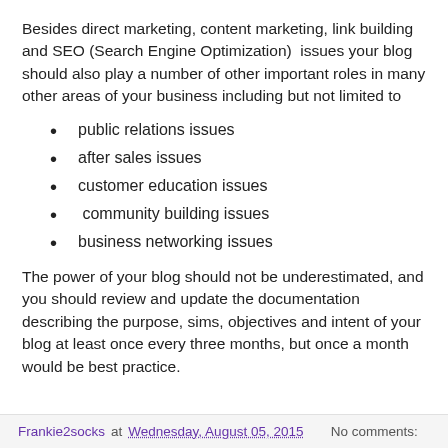Besides direct marketing, content marketing, link building and SEO (Search Engine Optimization)  issues your blog should also play a number of other important roles in many other areas of your business including but not limited to
public relations issues
after sales issues
customer education issues
community building issues
business networking issues
The power of your blog should not be underestimated, and you should review and update the documentation describing the purpose, sims, objectives and intent of your blog at least once every three months, but once a month would be best practice.
Frankie2socks at Wednesday, August 05, 2015    No comments: